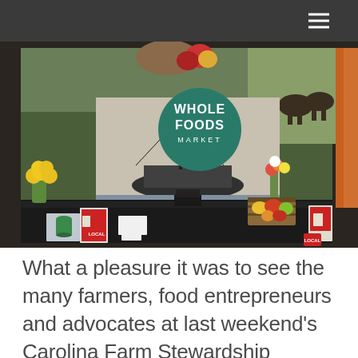[Figure (photo): A Whole Foods Market conference booth with a black tablecloth table, yellow flowers, fresh produce in a wooden crate, brochures, and a large backdrop showing a fishing boat, farm animals, and the Whole Foods Market logo.]
What a pleasure it was to see the many farmers, food entrepreneurs and advocates at last weekend’s Carolina Farm Stewardship Association conference. The local and